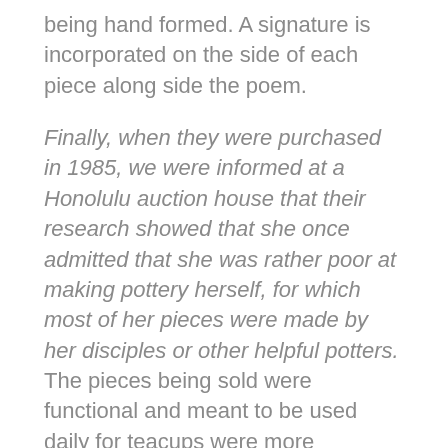being hand formed. A signature is incorporated on the side of each piece along side the poem.
Finally, when they were purchased in 1985, we were informed at a Honolulu auction house that their research showed that she once admitted that she was rather poor at making pottery herself, for which most of her pieces were made by her disciples or other helpful potters. The pieces being sold were functional and meant to be used daily for teacups were more prevalent, particularly for daily tea drinking, then are tea bowls that were made for the traditional tea ceremony and considered more valuable.